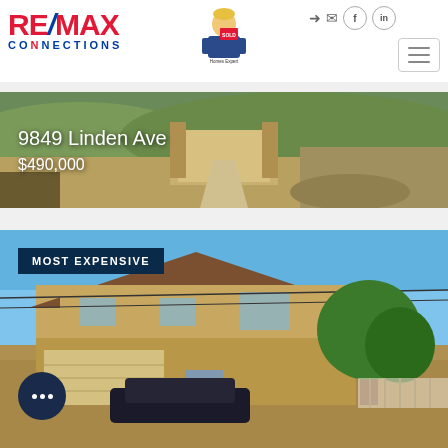[Figure (logo): RE/MAX Connections logo with red and blue text and agent cartoon mascot]
[Figure (photo): Property photo for 9849 Linden Ave showing a driveway and landscaping with text overlay]
9849 Linden Ave
$490,000
[Figure (photo): Property photo labeled MOST EXPENSIVE showing a two-story house with garage, car in driveway, tree, and blue sky]
MOST EXPENSIVE